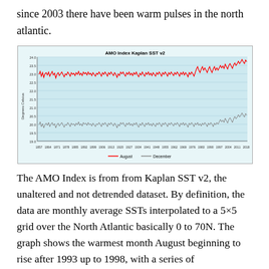since 2003 there have been warm pulses in the north atlantic.
[Figure (line-chart): AMO Index Kaplan SST v2]
The AMO Index is from from Kaplan SST v2, the unaltered and not detrended dataset. By definition, the data are monthly average SSTs interpolated to a 5×5 grid over the North Atlantic basically 0 to 70N.  The graph shows the warmest month August beginning to rise after 1993 up to 1998, with a series of